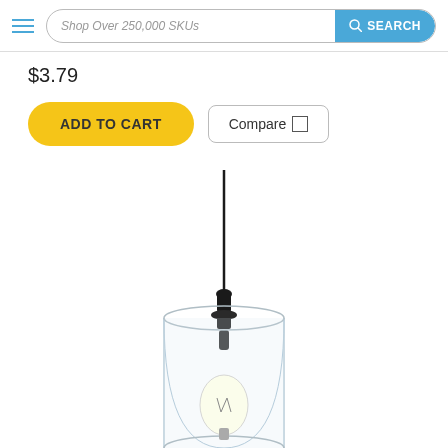Shop Over 250,000 SKUs  SEARCH
$3.79
ADD TO CART
Compare
[Figure (photo): A pendant light fixture with a clear cylindrical glass shade, black socket and hardware, and a thin black cord/rod hanging from the top. The bulb is partially visible inside the shade.]